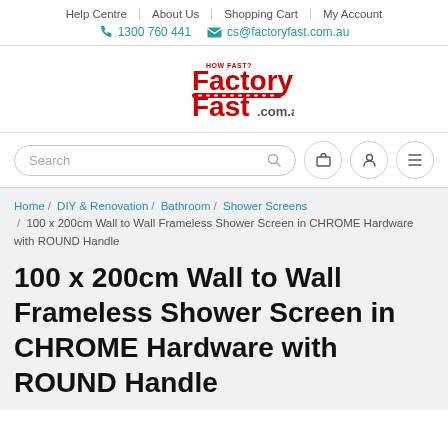Help Centre | About Us | Shopping Cart | My Account
📞 1300 760 441 ✉ cs@factoryfast.com.au
[Figure (logo): FactoryFast.com.au logo — bold red and white text with 'HOW FAST?' above and a conveyor belt graphic]
Search
Home / DIY & Renovation / Bathroom / Shower Screens / 100 x 200cm Wall to Wall Frameless Shower Screen in CHROME Hardware with ROUND Handle
100 x 200cm Wall to Wall Frameless Shower Screen in CHROME Hardware with ROUND Handle